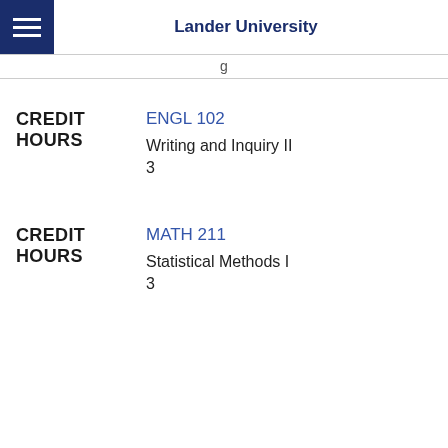Lander University
g
CREDIT HOURS
ENGL 102
Writing and Inquiry II
3
CREDIT HOURS
MATH 211
Statistical Methods I
3